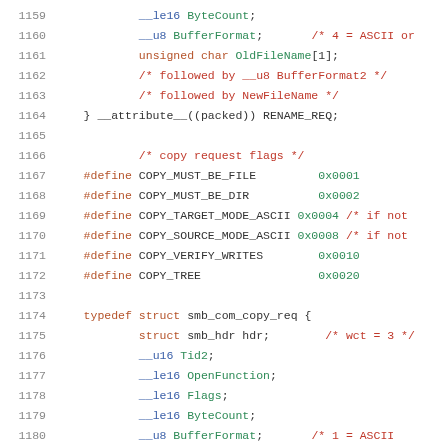1159  __le16 ByteCount;
1160  __u8 BufferFormat;  /* 4 = ASCII or
1161  unsigned char OldFileName[1];
1162  /* followed by __u8 BufferFormat2 */
1163  /* followed by NewFileName */
1164  } __attribute__((packed)) RENAME_REQ;
1165
1166  /* copy request flags */
1167  #define COPY_MUST_BE_FILE  0x0001
1168  #define COPY_MUST_BE_DIR   0x0002
1169  #define COPY_TARGET_MODE_ASCII 0x0004 /* if not
1170  #define COPY_SOURCE_MODE_ASCII 0x0008 /* if not
1171  #define COPY_VERIFY_WRITES  0x0010
1172  #define COPY_TREE           0x0020
1173
1174  typedef struct smb_com_copy_req {
1175  struct smb_hdr hdr;  /* wct = 3 */
1176  __u16 Tid2;
1177  __le16 OpenFunction;
1178  __le16 Flags;
1179  __le16 ByteCount;
1180  __u8 BufferFormat;  /* 1 = ASCII